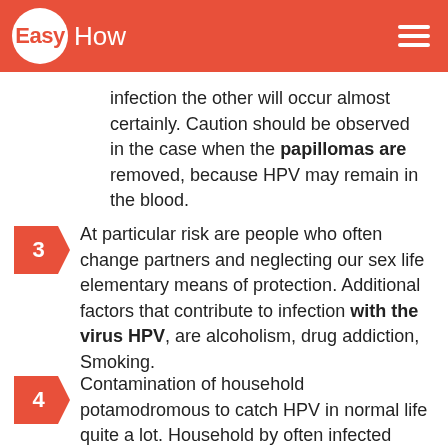EasyHow
infection the other will occur almost certainly. Caution should be observed in the case when the papillomas are removed, because HPV may remain in the blood.
3 — At particular risk are people who often change partners and neglecting our sex life elementary means of protection. Additional factors that contribute to infection with the virus HPV, are alcoholism, drug addiction, Smoking.
4 — Contamination of household potamodromous to catch HPV in normal life quite a lot. Household by often infected children and adolescents, and adults with weakened immune systems. First of all, the virus is transmitted to family members of